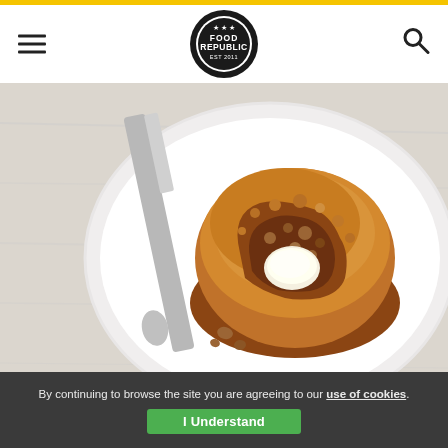Food Republic — navigation header with hamburger menu, logo, and search icon
[Figure (photo): A golden-brown muffin with a bite taken out of it, topped with crumble and a pat of butter, on a white scalloped plate with a silver knife beside it, on a white wood surface]
These moist, flavorful muffins get a welcome kick from bubbly, fermented kombucha.
By continuing to browse the site you are agreeing to our use of cookies. I Understand